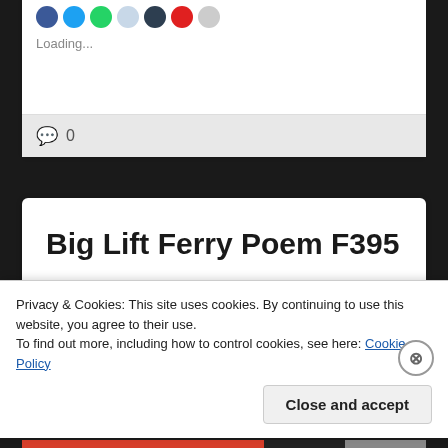Loading...
0
Big Lift Ferry Poem F395
Bridge still closed some nights –
Privacy & Cookies: This site uses cookies. By continuing to use this website, you agree to their use.
To find out more, including how to control cookies, see here: Cookie Policy
Close and accept